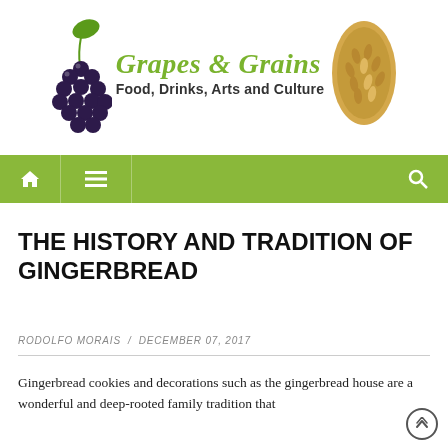[Figure (logo): Grapes & Grains logo with grape cluster on left, grain oval on right, green italic title text, dark subtitle text]
[Figure (screenshot): Green navigation bar with home icon, hamburger menu icon, and search icon]
THE HISTORY AND TRADITION OF GINGERBREAD
RODOLFO MORAIS / DECEMBER 07, 2017
Gingerbread cookies and decorations such as the gingerbread house are a wonderful and deep-rooted family tradition that